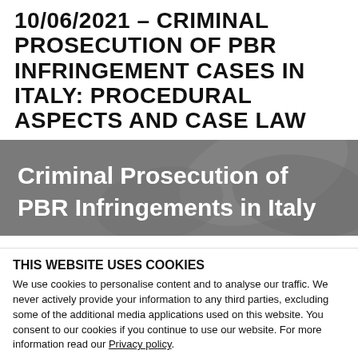10/06/2021 – CRIMINAL PROSECUTION OF PBR INFRINGEMENT CASES IN ITALY: PROCEDURAL ASPECTS AND CASE LAW
[Figure (illustration): Banner image with dark grey background and large white bold text reading 'Criminal Prosecution of PBR Infringements in Italy']
THIS WEBSITE USES COOKIES
We use cookies to personalise content and to analyse our traffic. We never actively provide your information to any third parties, excluding some of the additional media applications used on this website. You consent to our cookies if you continue to use our website. For more information read our Privacy policy.
OK
Necessary   Preferences   Statistics   Marketing   Show details